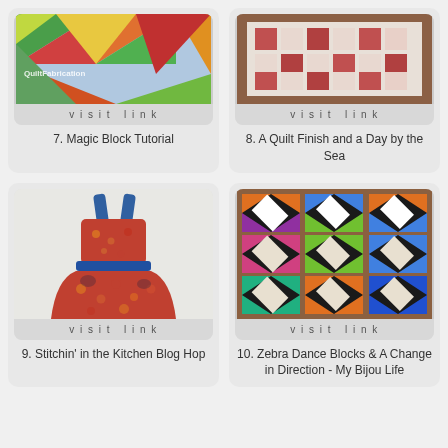[Figure (photo): Colorful quilt blocks with triangles in green, red, orange fabric - QuiltFabrication watermark]
visit link
7. Magic Block Tutorial
[Figure (photo): Quilt with pink/red and white squares on wooden surface]
visit link
8. A Quilt Finish and a Day by the Sea
[Figure (photo): Colorful floral apron with blue straps hanging against white wall]
visit link
9. Stitchin' in the Kitchen Blog Hop
[Figure (photo): Colorful quilt blocks in Zebra Dance pattern with orange, purple, green, blue, teal, brown colors]
visit link
10. Zebra Dance Blocks & A Change in Direction - My Bijou Life